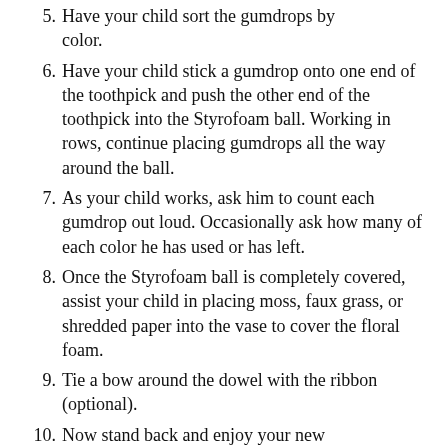5. Have your child sort the gumdrops by color.
6. Have your child stick a gumdrop onto one end of the toothpick and push the other end of the toothpick into the Styrofoam ball. Working in rows, continue placing gumdrops all the way around the ball.
7. As your child works, ask him to count each gumdrop out loud. Occasionally ask how many of each color he has used or has left.
8. Once the Styrofoam ball is completely covered, assist your child in placing moss, faux grass, or shredded paper into the vase to cover the floral foam.
9. Tie a bow around the dowel with the ribbon (optional).
10. Now stand back and enjoy your new